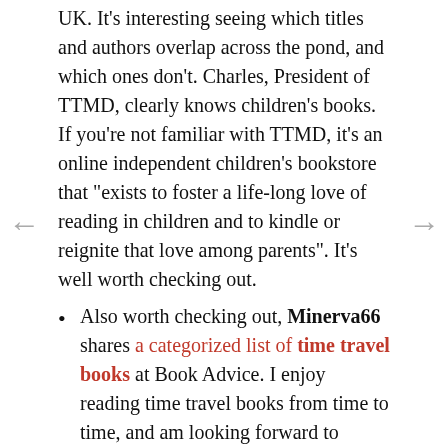UK. It's interesting seeing which titles and authors overlap across the pond, and which ones don't. Charles, President of TTMD, clearly knows children's books. If you're not familiar with TTMD, it's an online independent children's bookstore that "exists to foster a life-long love of reading in children and to kindle or reignite that love among parents". It's well worth checking out.
Also worth checking out, Minerva66 shares a categorized list of time travel books at Book Advice. I enjoy reading time travel books from time to time, and am looking forward to reading my recently acquired advance copy of The Time Thief, second book in Linda Buckley